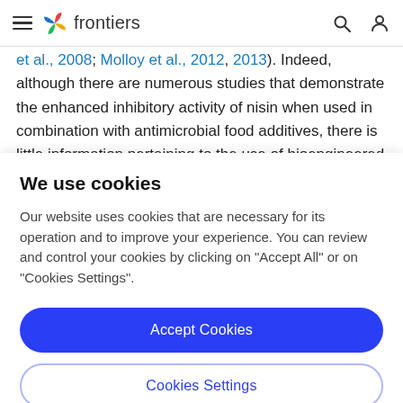frontiers
et al., 2008; Molloy et al., 2012, 2013). Indeed, although there are numerous studies that demonstrate the enhanced inhibitory activity of nisin when used in combination with antimicrobial food additives, there is little information pertaining to the use of bioengineered
We use cookies
Our website uses cookies that are necessary for its operation and to improve your experience. You can review and control your cookies by clicking on "Accept All" or on "Cookies Settings".
Accept Cookies
Cookies Settings